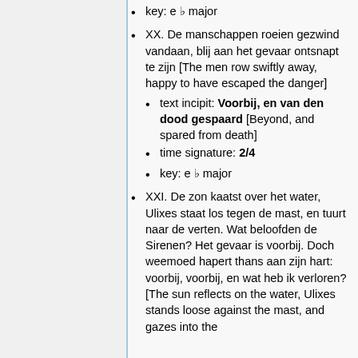key: e ♭ major
XX. De manschappen roeien gezwind vandaan, blij aan het gevaar ontsnapt te zijn [The men row swiftly away, happy to have escaped the danger]
text incipit: Voorbij, en van den dood gespaard [Beyond, and spared from death]
time signature: 2/4
key: e ♭ major
XXI. De zon kaatst over het water, Ulixes staat los tegen de mast, en tuurt naar de verten. Wat beloofden de Sirenen? Het gevaar is voorbij. Doch weemoed hapert thans aan zijn hart: voorbij, voorbij, en wat heb ik verloren? [The sun reflects on the water, Ulixes stands loose against the mast, and gazes into the